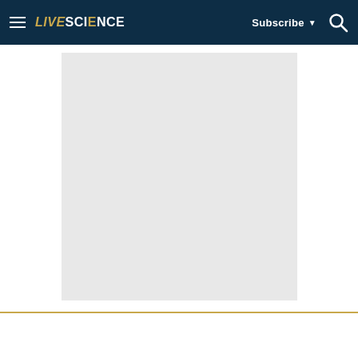LIVESCIENCE — Subscribe — Search
[Figure (other): Gray advertisement placeholder rectangle on white background]